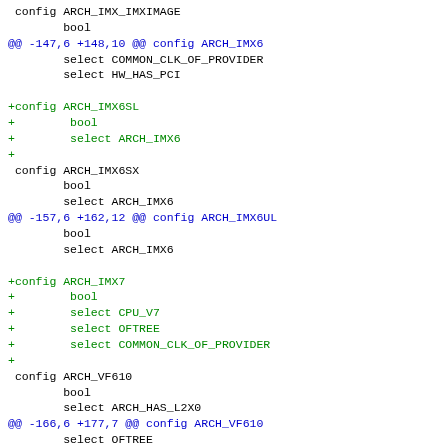config ARCH_IMX_IMXIMAGE
        bool
@@ -147,6 +148,10 @@ config ARCH_IMX6
        select COMMON_CLK_OF_PROVIDER
        select HW_HAS_PCI

+config ARCH_IMX6SL
+        bool
+        select ARCH_IMX6
+
 config ARCH_IMX6SX
        bool
        select ARCH_IMX6
@@ -157,6 +162,12 @@ config ARCH_IMX6UL
        bool
        select ARCH_IMX6

+config ARCH_IMX7
+        bool
+        select CPU_V7
+        select OFTREE
+        select COMMON_CLK_OF_PROVIDER
+
 config ARCH_VF610
        bool
        select ARCH_HAS_L2X0
@@ -166,6 +177,7 @@ config ARCH_VF610
        select OFTREE
        select COMMON_CLK
        select COMMON_CLK_OF_PROVIDER
+       select IMX_OCOTP  // Needed for clk